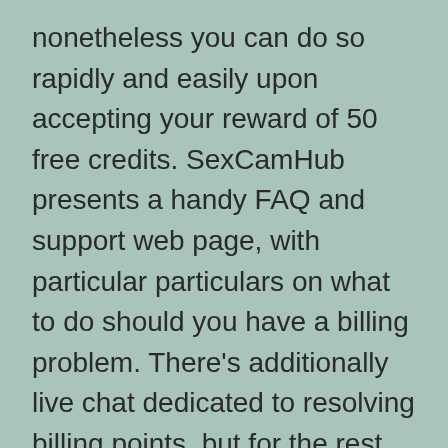nonetheless you can do so rapidly and easily upon accepting your reward of 50 free credits. SexCamHub presents a handy FAQ and support web page, with particular particulars on what to do should you have a billing problem. There's additionally live chat dedicated to resolving billing points, but for the rest, email is unfortunately your solely choice. Overall, if you intend to go to the positioning even once or twice a month, it is still useful for you to purchase the premium membership.
Info For Models Who Wish To Generate Income